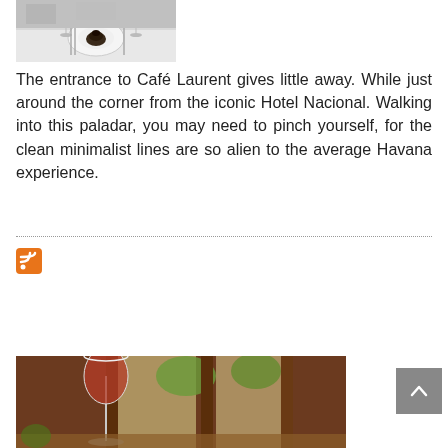[Figure (photo): Photo of a restaurant table setting with a dish and wine glasses, viewed from above.]
The entrance to Café Laurent gives little away. While just around the corner from the iconic Hotel Nacional. Walking into this paladar, you may need to pinch yourself, for the clean minimalist lines are so alien to the average Havana experience.
[Figure (logo): RSS feed icon in orange and white.]
[Figure (photo): Photo of a wine glass filled with red wine on a restaurant table with wooden window frames and greenery in the background.]